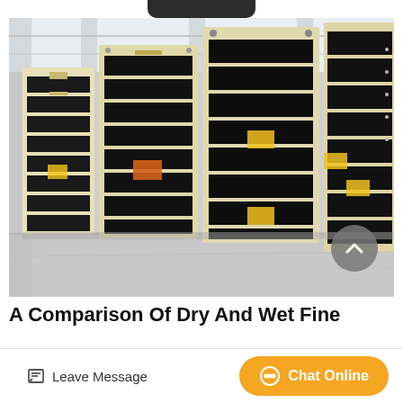[Figure (photo): Industrial vibrating screens stacked in a warehouse; cream/beige and black metal frames, large rectangular screening machines, industrial facility with high ceiling]
A Comparison Of Dry And Wet Fine
Leave Message   Chat Online